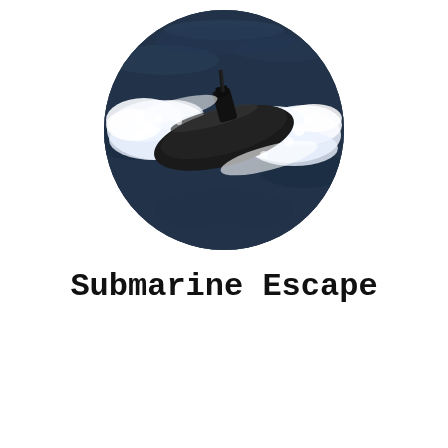[Figure (photo): Circular cropped aerial photograph of a submarine surfacing on dark ocean water, creating white wake/froth around the black hull. The submarine is viewed from above at an angle.]
Submarine Escape